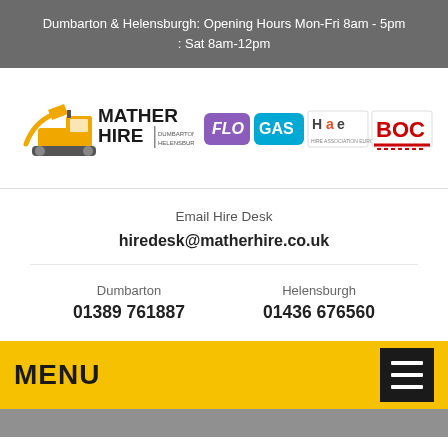Dumbarton & Helensburgh: Opening Hours Mon-Fri 8am - 5pm : Sat 8am-12pm
[Figure (logo): Mather Hire logo with yellow bulldozer icon and text 'MATHER HIRE DUMBARTON & HELENSBURGH']
[Figure (logo): Partner logos: FLO (purple), GAS (cyan), HAe (Hire Association Europe), BOC (red/white)]
Email Hire Desk
hiredesk@matherhire.co.uk
Dumbarton
01389 761887
Helensburgh
01436 676560
MENU